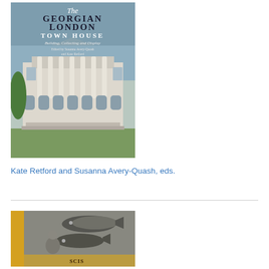[Figure (photo): Book cover of 'The Georgian London Town House: Building, Collecting and Display', edited by Susanna Avery-Quash and Kate Retford. Cover shows a neoclassical building facade with columns.]
Kate Retford and Susanna Avery-Quash, eds.
[Figure (photo): Partial book cover showing a black and white image with fish and a person, with text 'CUT AND PASTE' visible on the spine.]